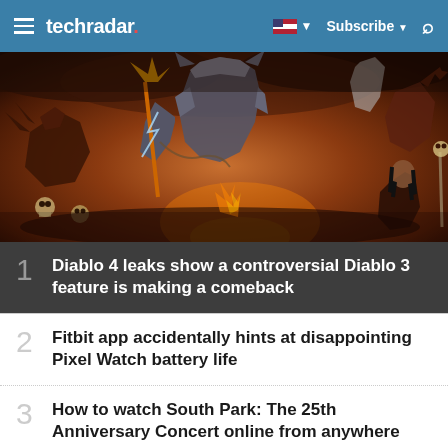techradar
[Figure (illustration): Dark fantasy artwork depicting armored warriors and demonic creatures in battle — Diablo video game artwork]
1 Diablo 4 leaks show a controversial Diablo 3 feature is making a comeback
2 Fitbit app accidentally hints at disappointing Pixel Watch battery life
3 How to watch South Park: The 25th Anniversary Concert online from anywhere